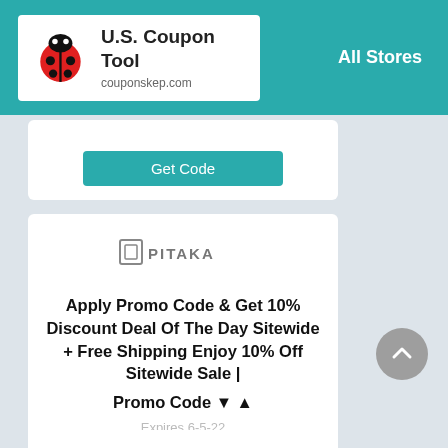U.S. Coupon Tool | couponskep.com | All Stores
[Figure (screenshot): Get Code button (teal) from partial coupon card at top]
[Figure (logo): PITAKA brand logo in gray text with square icon]
Apply Promo Code & Get 10% Discount Deal Of The Day Sitewide + Free Shipping Enjoy 10% Off Sitewide Sale |
Promo Code ▼ ▲
Expires 6-5-22
[Figure (screenshot): Get Code button (teal)]